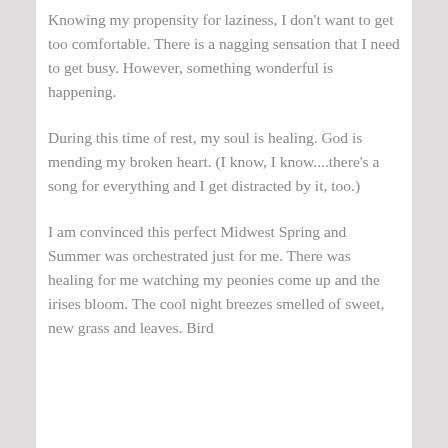Knowing my propensity for laziness, I don't want to get too comfortable. There is a nagging sensation that I need to get busy. However, something wonderful is happening.
During this time of rest, my soul is healing. God is mending my broken heart. (I know, I know....there's a song for everything and I get distracted by it, too.)
I am convinced this perfect Midwest Spring and Summer was orchestrated just for me. There was healing for me watching my peonies come up and the irises bloom. The cool night breezes smelled of sweet, new grass and leaves. Bird